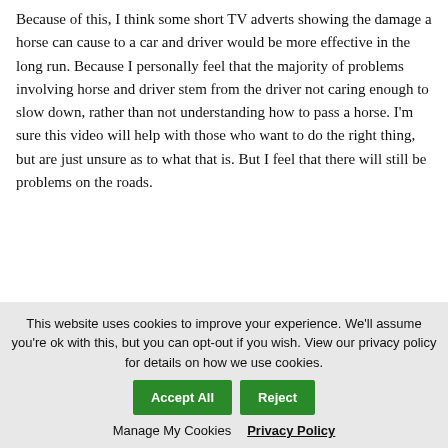Because of this, I think some short TV adverts showing the damage a horse can cause to a car and driver would be more effective in the long run. Because I personally feel that the majority of problems involving horse and driver stem from the driver not caring enough to slow down, rather than not understanding how to pass a horse. I'm sure this video will help with those who want to do the right thing, but are just unsure as to what that is. But I feel that there will still be problems on the roads.
Riders need to do their part too, such as the following:
This website uses cookies to improve your experience. We'll assume you're ok with this, but you can opt-out if you wish. View our privacy policy for details on how we use cookies.